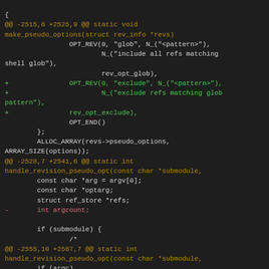[Figure (screenshot): A git diff code screenshot showing changes to a C source file involving OPT_REV and handle_revision_pseudo_opt functions, with added lines in green and removed lines in red/pink on a dark background.]